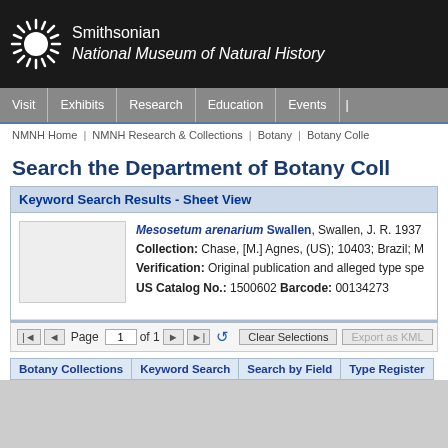[Figure (logo): Smithsonian National Museum of Natural History logo with sunburst icon and text]
Visit | Exhibits | Research | Education | Events
NMNH Home | NMNH Research & Collections | Botany | Botany Colle
Search the Department of Botany Coll
Keyword Search Results - Sheet View
Mesosetum arenarium Swallen, Swallen, J. R. 1937
Collection: Chase, [M.] Agnes, (US); 10403; Brazil; M
Verification: Original publication and alleged type spe
US Catalog No.: 1500602 Barcode: 00134273
Page 1 of 1   Clear Selections   Export as KML
Botany Collections | Keyword Search | Search by Field | Type Register